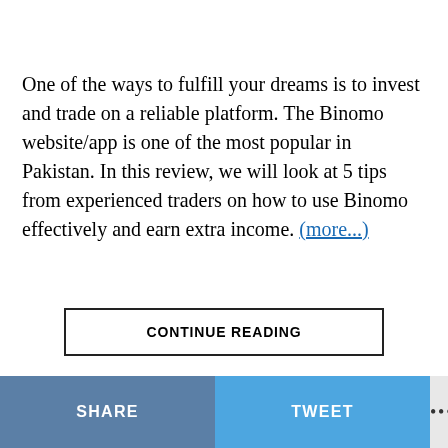One of the ways to fulfill your dreams is to invest and trade on a reliable platform. The Binomo website/app is one of the most popular in Pakistan. In this review, we will look at 5 tips from experienced traders on how to use Binomo effectively and earn extra income. (more...)
CONTINUE READING
SHARE   TWEET   •••